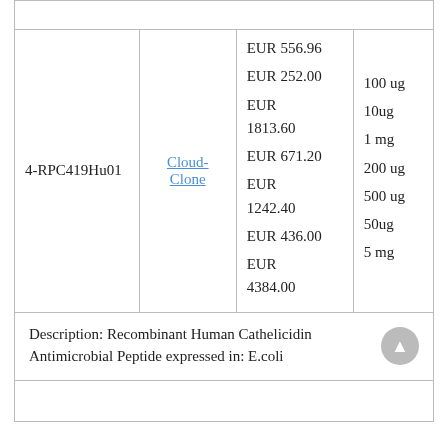| ID | Vendor | Price | Size |
| --- | --- | --- | --- |
| 4-RPC419Hu01 | Cloud-Clone | EUR 556.96
EUR 252.00
EUR 1813.60
EUR 671.20
EUR 1242.40
EUR 436.00
EUR 4384.00 | 100 ug
10ug
1 mg
200 ug
500 ug
50ug
5 mg |
Description: Recombinant Human Cathelicidin Antimicrobial Peptide expressed in: E.coli